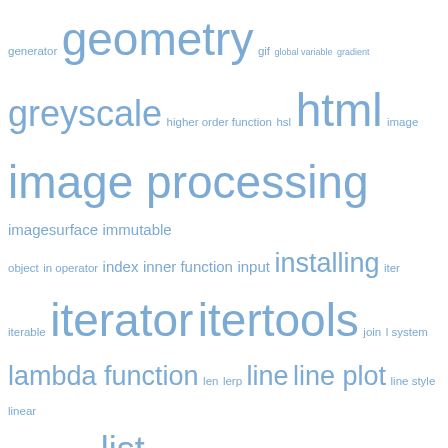[Figure (other): Tag cloud of programming and Python-related terms in varying font sizes and shades of blue, including terms like geometry, html, image processing, iterator, itertools, matplotlib, numpy, python standard library, and many others.]